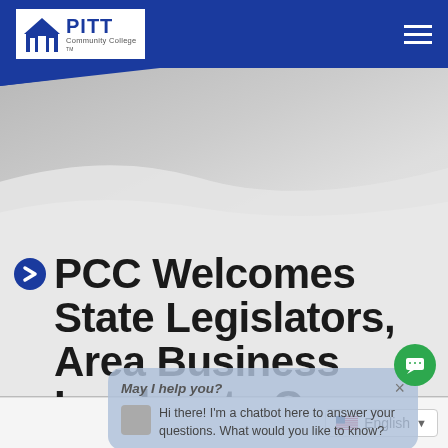Pitt Community College
[Figure (screenshot): Gray decorative wave/banner area with curved shapes]
PCC Welcomes State Legislators, Area Business Leaders to Campus
[Figure (screenshot): Chatbot overlay popup: 'May I help you?' header with X close button, avatar icon, message: 'Hi there! I'm a chatbot here to answer your questions. What would you like to know?']
English